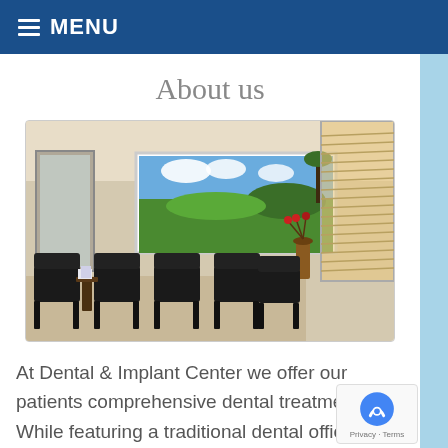MENU
About us
[Figure (photo): Interior of dental office waiting room with black chairs, artwork on wall showing landscape, and window with blinds on the right side.]
At Dental & Implant Center we offer our patients comprehensive dental treatment. While featuring a traditional dental office